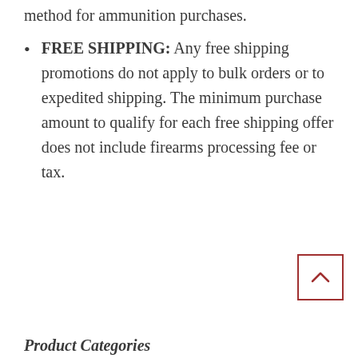method for ammunition purchases.
FREE SHIPPING:  Any free shipping promotions do not apply to bulk orders or to expedited shipping. The minimum purchase amount to qualify for each free shipping offer does not include firearms processing fee or tax.
[Figure (other): Back to top button with upward caret arrow, red border]
Product Categories